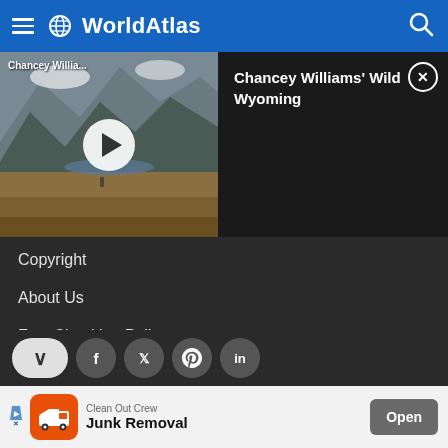WorldAtlas
[Figure (screenshot): Video thumbnail showing mountain landscape with play button. Label reads 'Chancey Willia...']
Chancey Williams' Wild Wyoming
Copyright
About Us
Fact Checking Policy
Corrections Policy
Ownership Policy
[Figure (infographic): Social sharing bar with chevron/collapse button, Facebook, Twitter, Pinterest, and LinkedIn icons]
[Figure (screenshot): Advertisement banner: Clean Out Crew Junk Removal app with Open button]